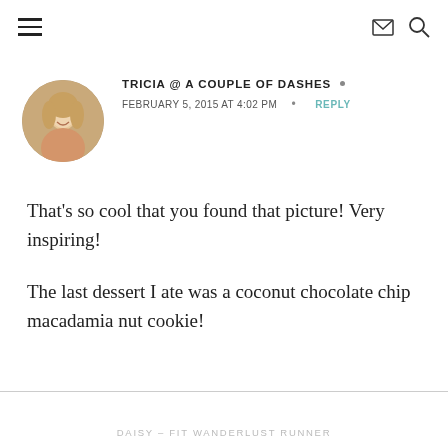≡  ✉ 🔍
[Figure (photo): Circular avatar photo of a blonde woman smiling]
TRICIA @ A COUPLE OF DASHES •
FEBRUARY 5, 2015 AT 4:02 PM  •  REPLY
That's so cool that you found that picture! Very inspiring!
The last dessert I ate was a coconut chocolate chip macadamia nut cookie!
DAISY – FIT WANDERLUST RUNNER